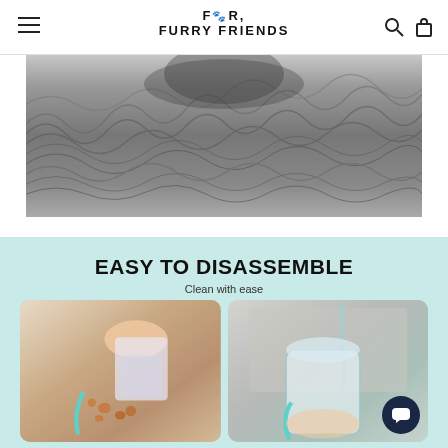For Furry Friends
[Figure (photo): Black and white close-up photo of a long-haired dog, showing its fur and head from above]
EASY TO DISASSEMBLE
Clean with ease
[Figure (photo): Two product photos side by side: left shows a hand disassembling a clear plastic pet water dispenser with kibble spilling, right shows the clear plastic parts being rinsed under a sink faucet]
[Figure (other): Dark circular chat support button in bottom right]